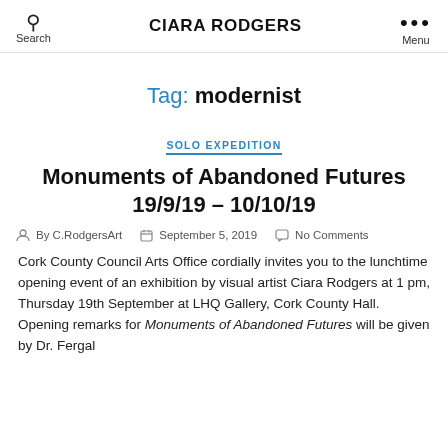CIARA RODGERS
Tag: modernist
SOLO EXPEDITION
Monuments of Abandoned Futures 19/9/19 – 10/10/19
By C.RodgersArt   September 5, 2019   No Comments
Cork County Council Arts Office cordially invites you to the lunchtime opening event of an exhibition by visual artist Ciara Rodgers at 1 pm, Thursday 19th September at LHQ Gallery, Cork County Hall. Opening remarks for Monuments of Abandoned Futures will be given by Dr. Fergal